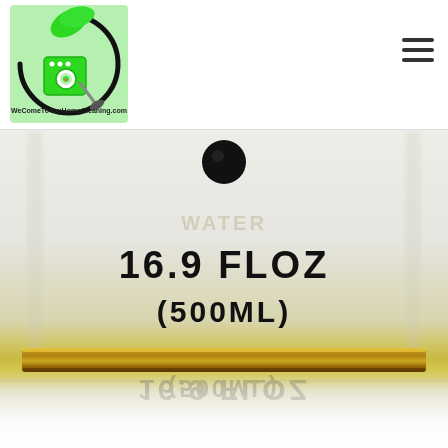[Figure (logo): WeComeToYouHomeCleaning.com logo — circular black swoosh with green leaf and cleaning appliance graphic, green background square]
[Figure (photo): Close-up photo of a clear glass or plastic bottle bottom/side showing label text '16.9 FLOZ (500ML)' in bold black chunky font, with gold/yellow metallic bottom ring and reflection below on white surface]